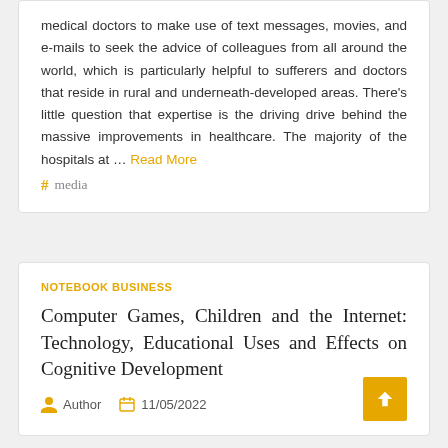medical doctors to make use of text messages, movies, and e-mails to seek the advice of colleagues from all around the world, which is particularly helpful to sufferers and doctors that reside in rural and underneath-developed areas. There's little question that expertise is the driving drive behind the massive improvements in healthcare. The majority of the hospitals at … Read More
# media
NOTEBOOK BUSINESS
Computer Games, Children and the Internet: Technology, Educational Uses and Effects on Cognitive Development
Author  11/05/2022